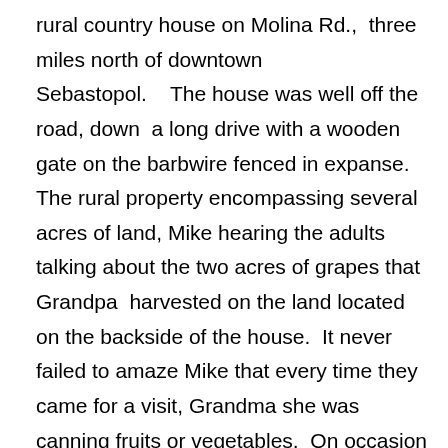rural country house on Molina Rd.,  three  miles north of downtown Sebastopol.    The house was well off the road,  down  a long drive with a wooden gate on the barbwire fenced in expanse.  The rural property encompassing several acres of land, Mike hearing the adults talking about the two acres of grapes that Grandpa  harvested on the land located on the backside of the house.  It never failed to amaze Mike that every time they came for a visit, Grandma she was canning fruits or vegetables.  On occasion he and his sisters would volunteer to pick strawberries from the long rows in their giant vegetable garden situated in front of the house.   The actual residence  was a small two bedroom  home,  family and visitors were always welcome and if there was not enough sleeping room inside,  there was always the outside,  either in the tent like hut beside the house or  under the